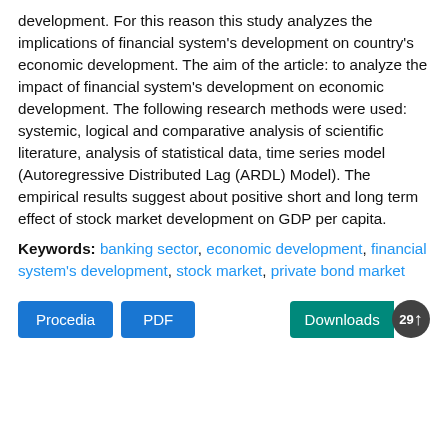development. For this reason this study analyzes the implications of financial system's development on country's economic development. The aim of the article: to analyze the impact of financial system's development on economic development. The following research methods were used: systemic, logical and comparative analysis of scientific literature, analysis of statistical data, time series model (Autoregressive Distributed Lag (ARDL) Model). The empirical results suggest about positive short and long term effect of stock market development on GDP per capita.
Keywords: banking sector, economic development, financial system's development, stock market, private bond market
Procedia PDF Downloads 296